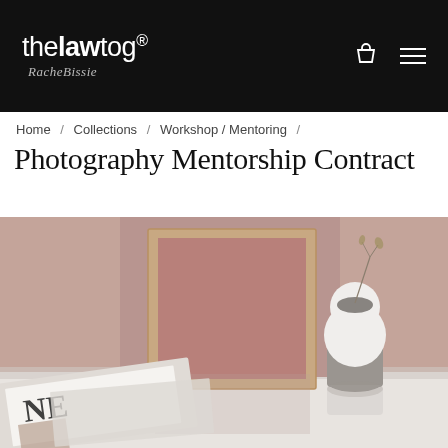thelawtog® — logo with cart and menu icons
Home / Collections / Workshop / Mentoring /
Photography Mentorship Contract
[Figure (photo): Styled product lifestyle photo showing a framed pink canvas board leaning against a mauve wall, a white ceramic mushroom-shaped vase on a white surface, scattered magazines and papers in the foreground.]